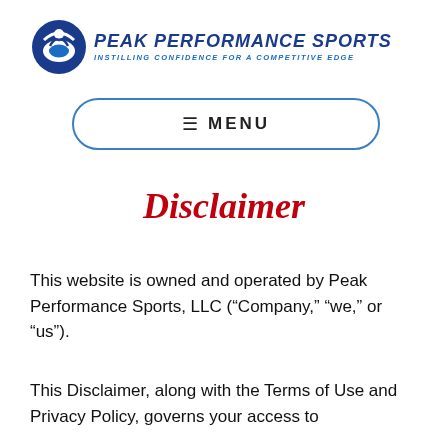[Figure (logo): Peak Performance Sports logo with circular icon and italic bold text reading PEAK PERFORMANCE SPORTS / INSTILLING CONFIDENCE FOR A COMPETITIVE EDGE]
≡  MENU
Disclaimer
This website is owned and operated by Peak Performance Sports, LLC (“Company,” “we,” or “us”).
This Disclaimer, along with the Terms of Use and Privacy Policy, governs your access to